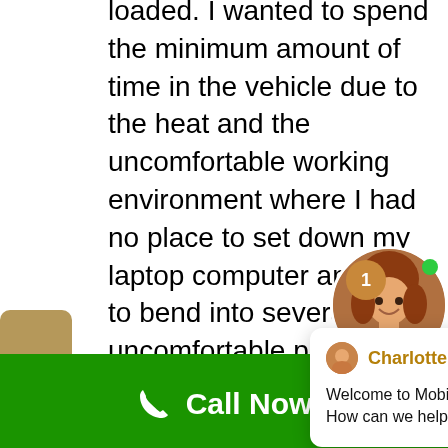loaded. I wanted to spend the minimum amount of time in the vehicle due to the heat and the uncomfortable working environment where I had no place to set down my laptop computer and had to bend into several uncomfortable positions for accomplishing of these w ground w and grabbing climbing handles, door knobs and seats that were too hot to touch without receiving a nasty burn tried to program the radio, but it kept
[Figure (screenshot): Chat widget overlay showing agent Charlotte with message: Welcome to Mobile Relay Associates! How can we help you?]
[Figure (photo): Circular photo of an online agent (red-haired woman) with green dot and Online Agent label, notification badge showing 1]
TEXT US
Call Now